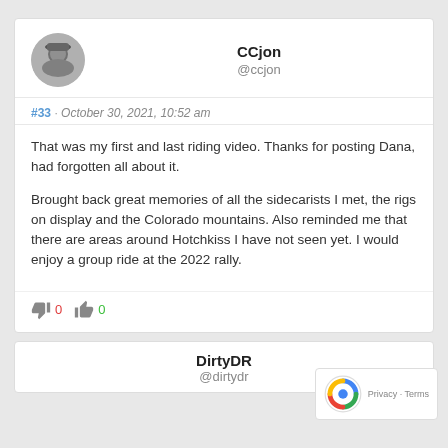CCjon @ccjon
#33 · October 30, 2021, 10:52 am
That was my first and last riding video. Thanks for posting Dana, had forgotten all about it.
Brought back great memories of all the sidecarists I met, the rigs on display and the Colorado mountains. Also reminded me that there are areas around Hotchkiss I have not seen yet. I would enjoy a group ride at the 2022 rally.
👎 0   👍 0
DirtyDR @dirtydr